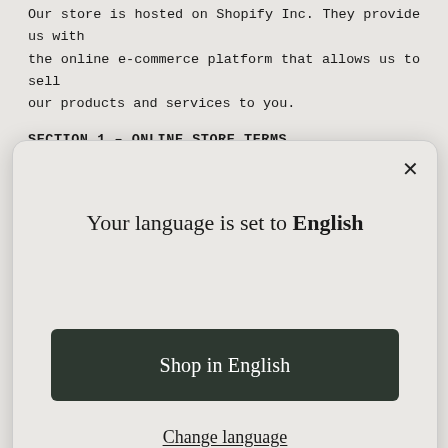Our store is hosted on Shopify Inc. They provide us with the online e-commerce platform that allows us to sell our products and services to you.
SECTION 1 – ONLINE STORE TERMS
[Figure (screenshot): Modal dialog box with close button (×), message 'Your language is set to English', a dark 'Shop in English' button, and an underlined 'Change language' link.]
Service, violate any laws in your jurisdiction (including but not limited to copyright laws). You must not transmit any worms or viruses or any code of a destructive nature.